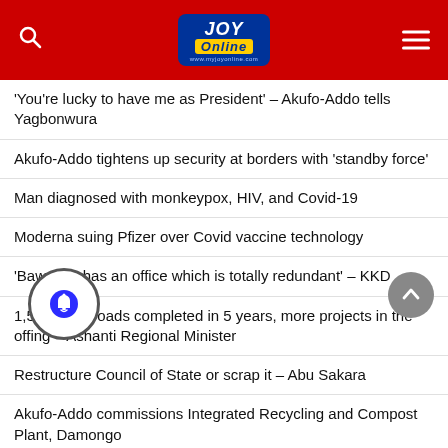JOY Online
‘You’re lucky to have me as President’ – Akufo-Addo tells Yagbonwura
Akufo-Addo tightens up security at borders with ‘standby force’
Man diagnosed with monkeypox, HIV, and Covid-19
Moderna suing Pfizer over Covid vaccine technology
‘Bawumia has an office which is totally redundant’ – KKD
1,515km of roads completed in 5 years, more projects in the offing – Ashanti Regional Minister
Restructure Council of State or scrap it – Abu Sakara
Akufo-Addo commissions Integrated Recycling and Compost Plant, Damongo
MOST POPULAR NEWS
BoG to close down licensed forex bureaus flouting foreign